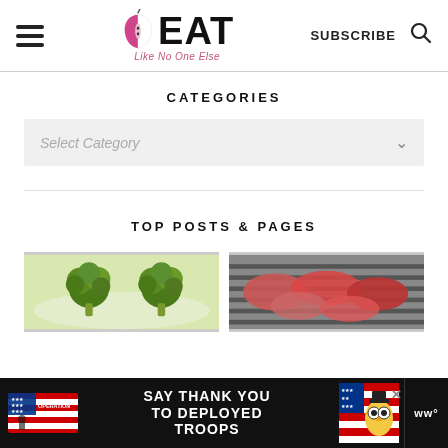EAT Like No One Else — SUBSCRIBE
CATEGORIES
Select Category
TOP POSTS & PAGES
[Figure (photo): Two broccoli florets on a white plate]
[Figure (photo): Raw meat on a grill]
[Figure (other): Advertisement banner: Operation Gratitude — SAY THANK YOU TO DEPLOYED TROOPS, with patriotic owl graphic and WW logo]